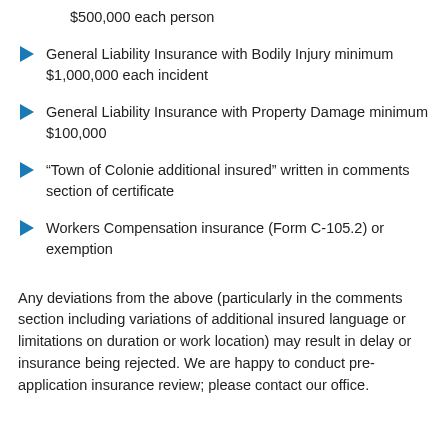$500,000 each person
General Liability Insurance with Bodily Injury minimum $1,000,000 each incident
General Liability Insurance with Property Damage minimum $100,000
“Town of Colonie additional insured” written in comments section of certificate
Workers Compensation insurance (Form C-105.2) or exemption
Any deviations from the above (particularly in the comments section including variations of additional insured language or limitations on duration or work location) may result in delay or insurance being rejected. We are happy to conduct pre-application insurance review; please contact our office.